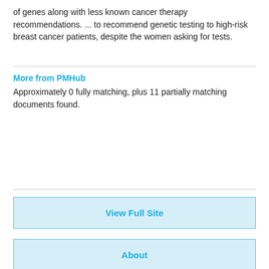of genes along with less known cancer therapy recommendations. ... to recommend genetic testing to high-risk breast cancer patients, despite the women asking for tests.
More from PMHub
Approximately 0 fully matching, plus 11 partially matching documents found.
View Full Site
About
Contact
Advertise
Site map